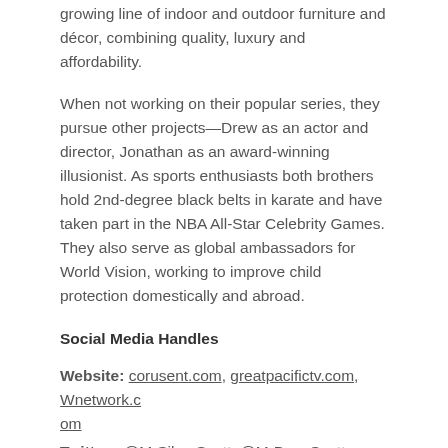growing line of indoor and outdoor furniture and décor, combining quality, luxury and affordability.
When not working on their popular series, they pursue other projects—Drew as an actor and director, Jonathan as an award-winning illusionist. As sports enthusiasts both brothers hold 2nd-degree black belts in karate and have taken part in the NBA All-Star Celebrity Games. They also serve as global ambassadors for World Vision, working to improve child protection domestically and abroad.
Social Media Handles
Website: corusent.com, greatpacifictv.com, Wnetwork.com
Twitter: @MrSilverScott, @MrDrewScott, @GameOfHo